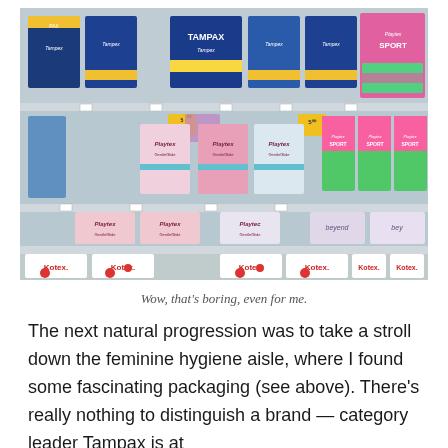[Figure (photo): Photo of store shelves stocked with feminine hygiene products including Tampax, Playtex, Kotex, and Playtex Sport tampon boxes in blue, pink, and white packaging arranged on multiple shelf levels.]
Wow, that's boring, even for me.
The next natural progression was to take a stroll down the feminine hygiene aisle, where I found some fascinating packaging (see above). There's really nothing to distinguish a brand — category leader Tampax is at